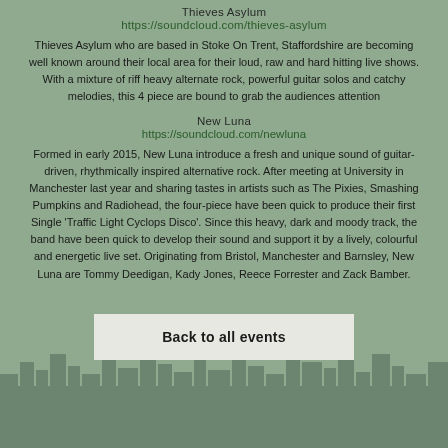Thieves Asylum
https://soundcloud.com/thieves-asylum
Thieves Asylum who are based in Stoke On Trent, Staffordshire are becoming well known around their local area for their loud, raw and hard hitting live shows. With a mixture of riff heavy alternate rock, powerful guitar solos and catchy melodies, this 4 piece are bound to grab the audiences attention
New Luna
https://soundcloud.com/newluna
Formed in early 2015, New Luna introduce a fresh and unique sound of guitar-driven, rhythmically inspired alternative rock. After meeting at University in Manchester last year and sharing tastes in artists such as The Pixies, Smashing Pumpkins and Radiohead, the four-piece have been quick to produce their first Single 'Traffic Light Cyclops Disco'. Since this heavy, dark and moody track, the band have been quick to develop their sound and support it by a lively, colourful and energetic live set. Originating from Bristol, Manchester and Barnsley, New Luna are Tommy Deedigan, Kady Jones, Reece Forrester and Zack Bamber.
Back to all events
[Figure (illustration): Stylized city skyline silhouette in muted green/grey tones at the bottom of the page]